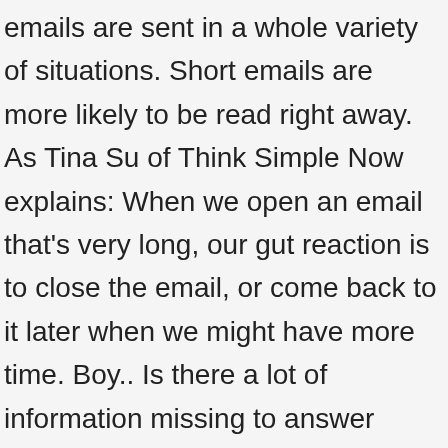emails are sent in a whole variety of situations. Short emails are more likely to be read right away. As Tina Su of Think Simple Now explains: When we open an email that's very long, our gut reaction is to close the email, or come back to it later when we might have more time. Boy.. Is there a lot of information missing to answer this… If you work at a Nuclear Power Plant and your manager, and his manager, and his manager have ignored safety concern, than writing an FYI to his manager would be perfectly appropriate. It is comfortable using this between peers. Reply Email Sample III: Approving Application for a Different Position. Formal Email Samples. While they use the same rules, they may have to be modified according to their purpose. Now that you are familiar with the format of a formal email, let us have a look at a few formal